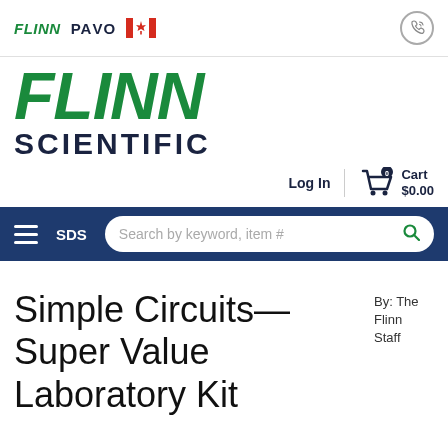[Figure (logo): Flinn Scientific logo with PAVO and Canadian flag in top navigation bar]
Simple Circuits—Super Value Laboratory Kit
By: The Flinn Staff